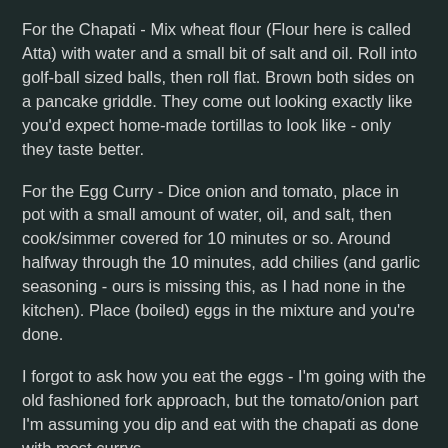For the Chapati - Mix wheat flour (Flour here is called Atta) with water and a small bit of salt and oil. Roll into golf-ball sized balls, then roll flat. Brown both sides on a pancake griddle. They come out looking exactly like you'd expect home-made tortillas to look like - only they taste better.
For the Egg Curry - Dice onion and tomato, place in pot with a small amount of water, oil, and salt, then cook/simmer covered for 10 minutes or so. Around halfway through the 10 minutes, add chilies (and garlic seasoning - ours is missing this, as I had none in the kitchen). Place (boiled) eggs in the mixture and you're done.
I forgot to ask how you eat the eggs - I'm going with the old fashioned fork approach, but the tomato/onion part I'm assuming you dip and eat with the chapati as done with most currys.
Lorenda
Share